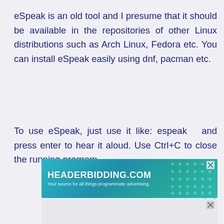eSpeak is an old tool and I presume that it should be available in the repositories of other Linux distributions such as Arch Linux, Fedora etc. You can install eSpeak easily using dnf, pacman etc.
To use eSpeak, just use it like: espeak  and press enter to hear it aloud. Use Ctrl+C to close the running program.
[Figure (other): Advertisement banner for HEADERBIDDING.COM with tagline 'Your source for all things programmatic advertising.' on a teal/cyan gradient background with decorative dot pattern.]
[Figure (other): Partially visible second advertisement banner at bottom of page, light gray background.]